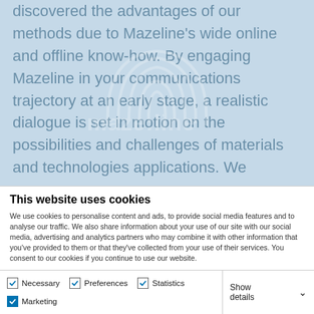discovered the advantages of our methods due to Mazeline's wide online and offline know-how. By engaging Mazeline in your communications trajectory at an early stage, a realistic dialogue is set in motion on the possibilities and challenges of materials and technologies applications. We
[Figure (logo): Mazeline watermark logo with arc/fingerprint icon and stylized text 'maze:line']
This website uses cookies
We use cookies to personalise content and ads, to provide social media features and to analyse our traffic. We also share information about your use of our site with our social media, advertising and analytics partners who may combine it with other information that you've provided to them or that they've collected from your use of their services. You consent to our cookies if you continue to use our website.